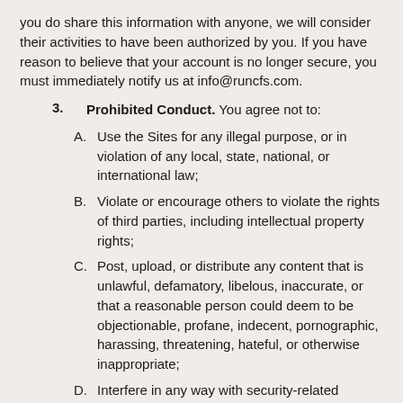you do share this information with anyone, we will consider their activities to have been authorized by you. If you have reason to believe that your account is no longer secure, you must immediately notify us at info@runcfs.com.
3. Prohibited Conduct. You agree not to:
A. Use the Sites for any illegal purpose, or in violation of any local, state, national, or international law;
B. Violate or encourage others to violate the rights of third parties, including intellectual property rights;
C. Post, upload, or distribute any content that is unlawful, defamatory, libelous, inaccurate, or that a reasonable person could deem to be objectionable, profane, indecent, pornographic, harassing, threatening, hateful, or otherwise inappropriate;
D. Interfere in any way with security-related features of the Sites;
E. Interfere with the operation or any user's enjoyment of the Sites, including by uploading or otherwise disseminating viruses, adware, spyware, worms, or other malicious code or hirecting solicited offers